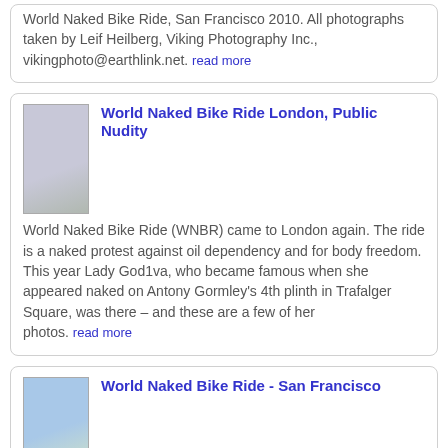World Naked Bike Ride, San Francisco 2010. All photographs taken by Leif Heilberg, Viking Photography Inc., vikingphoto@earthlink.net. read more
World Naked Bike Ride London, Public Nudity
[Figure (photo): Thumbnail photo of a person wearing sunglasses and a helmet with a building background]
World Naked Bike Ride (WNBR) came to London again. The ride is a naked protest against oil dependency and for body freedom. This year Lady God1va, who became famous when she appeared naked on Antony Gormley's 4th plinth in Trafalger Square, was there – and these are a few of her photos. read more
World Naked Bike Ride - San Francisco
[Figure (photo): Thumbnail photo of a person at San Francisco protest ride]
Each year some of the people of San Francisco protest against our dependence on fossil fuels by riding their bikes across San Francisco. All photographs taken by Leif Heilberg. read more
World Naked Bike Ride, San Francisco 2009
[Figure (photo): Thumbnail photo from San Francisco 2009 event]